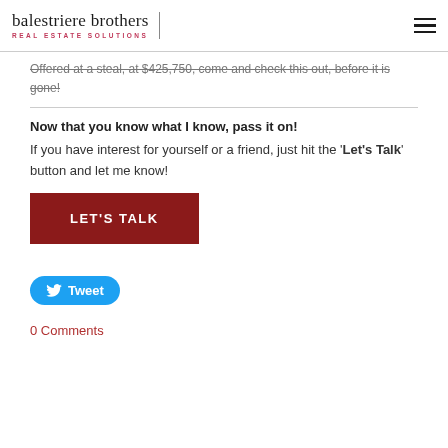balestriere brothers REAL ESTATE SOLUTIONS
Offered at a steal, at $425,750, come and check this out, before it is gone!
Now that you know what I know, pass it on! If you have interest for yourself or a friend, just hit the 'Let's Talk' button and let me know!
[Figure (other): Dark red call-to-action button labeled LET'S TALK]
[Figure (other): Blue rounded Twitter Tweet button with bird icon]
0 Comments